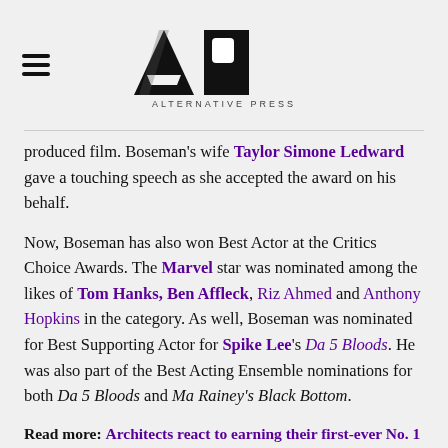AP ALTERNATIVE PRESS
produced film. Boseman's wife Taylor Simone Ledward gave a touching speech as she accepted the award on his behalf.
Now, Boseman has also won Best Actor at the Critics Choice Awards. The Marvel star was nominated among the likes of Tom Hanks, Ben Affleck, Riz Ahmed and Anthony Hopkins in the category. As well, Boseman was nominated for Best Supporting Actor for Spike Lee's Da 5 Bloods. He was also part of the Best Acting Ensemble nominations for both Da 5 Bloods and Ma Rainey's Black Bottom.
Read more: Architects react to earning their first-ever No. 1 album in the UK
Ledward accepted the Critics Choice Best Actor award on